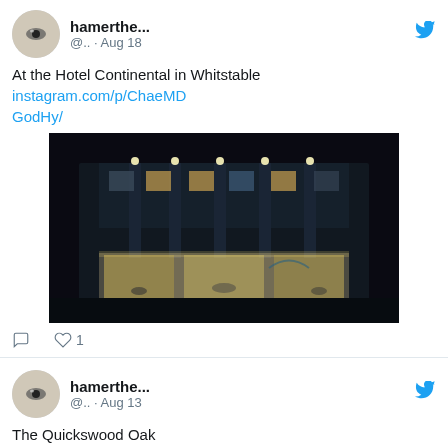hamerthe... @.. · Aug 18
At the Hotel Continental in Whitstable instagram.com/p/ChaeMDGodHy/
[Figure (photo): Nighttime photo of a hotel building with illuminated windows and outdoor seating area]
1 like
hamerthe... @.. · Aug 13
The Quickswood Oak
[Figure (photo): Partial view of an outdoor scene with trees]